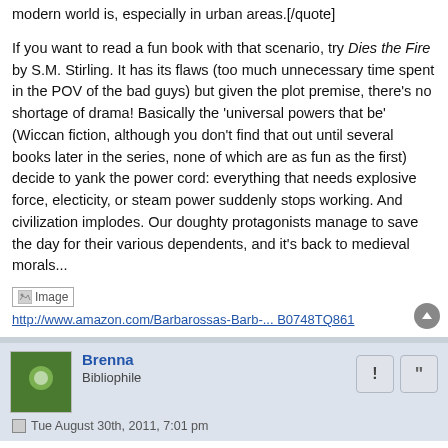modern world is, especially in urban areas.[/quote]

If you want to read a fun book with that scenario, try Dies the Fire by S.M. Stirling. It has its flaws (too much unnecessary time spent in the POV of the bad guys) but given the plot premise, there's no shortage of drama! Basically the 'universal powers that be' (Wiccan fiction, although you don't find that out until several books later in the series, none of which are as fun as the first) decide to yank the power cord: everything that needs explosive force, electicity, or steam power suddenly stops working. And civilization implodes. Our doughty protagonists manage to save the day for their various dependents, and it's back to medieval morals...
[Figure (other): Broken image placeholder thumbnail]
http://www.amazon.com/Barbarossas-Barb-... B0748TQ861
Brenna
Bibliophile
Tue August 30th, 2011, 7:01 pm
[quote=""Misfit""]Brenna, you poor dear. Anything we can do to help you through this trauma?

The same people who are bellowing about the officials erring on the side